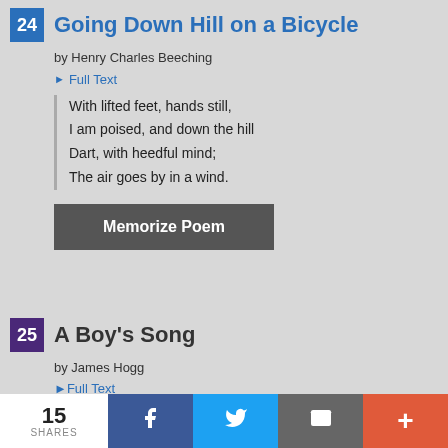24 Going Down Hill on a Bicycle
by Henry Charles Beeching
► Full Text
With lifted feet, hands still,
I am poised, and down the hill
Dart, with heedful mind;
The air goes by in a wind.
Memorize Poem
25 A Boy's Song
by James Hogg
► Full Text
15 SHARES  [Facebook] [Twitter] [Email] [+]